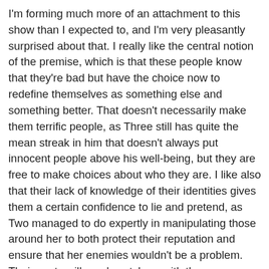I'm forming much more of an attachment to this show than I expected to, and I'm very pleasantly surprised about that. I really like the central notion of the premise, which is that these people know that they're bad but have the choice now to redefine themselves as something else and something better. That doesn't necessarily make them terrific people, as Three still has quite the mean streak in him that doesn't always put innocent people above his well-being, but they are free to make choices about who they are. I like also that their lack of knowledge of their identities gives them a certain confidence to lie and pretend, as Two managed to do expertly in manipulating those around her to both protect their reputation and ensure that her enemies wouldn't be a problem. Their pasts will surely catch up with them sooner or later, but for now it's clear that they're on a different path, and I'm eager to see where it takes them as they discover more about the world they live in and inadvertently also more about themselves. I like the Android's minimal personality, asking emotionless guards if they have offspring, and I think she's a strong character. Five is definitely the biggest mystery, and it seems that she knows more than the rest of them do about their true intentions, even if she too can't